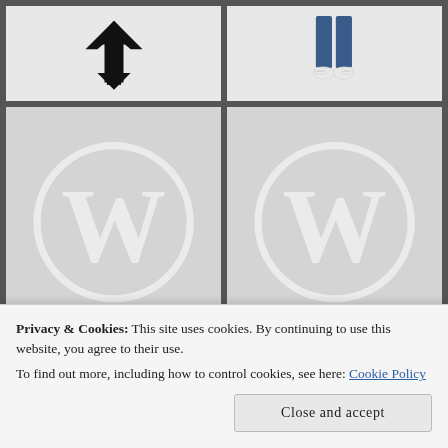[Figure (illustration): Black arrow/plant icon pointing downward on white/light background]
[Figure (illustration): Cartoon character legs wearing jeans and sneakers on light background]
[Figure (logo): WordPress logo - white W in circle on grey background (left)]
[Figure (logo): WordPress logo - white W in circle on grey background (right)]
[Figure (logo): WordPress logo - partial white W in circle on grey background (bottom left, partially visible)]
[Figure (illustration): Illustrated anthropomorphic book character with eyes, painted in warm tones]
Privacy & Cookies: This site uses cookies. By continuing to use this website, you agree to their use.
To find out more, including how to control cookies, see here: Cookie Policy